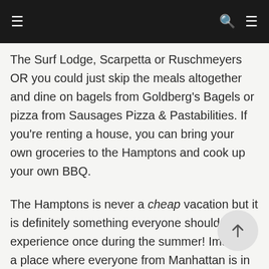navigation bar with menu, search, and menu icons
The Surf Lodge, Scarpetta or Ruschmeyers OR you could just skip the meals altogether and dine on bagels from Goldberg's Bagels or pizza from Sausages Pizza & Pastabilities. If you're renting a house, you can bring your own groceries to the Hamptons and cook up your own BBQ.
The Hamptons is never a cheap vacation but it is definitely something everyone should experience once during the summer! Imagine a place where everyone from Manhattan is in vacation-mode and out to have a good time, you'll definitely